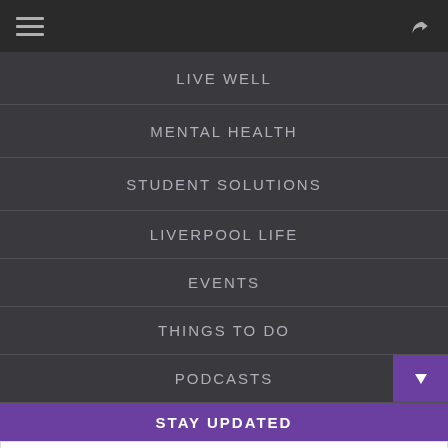Navigation menu with hamburger icon and share icon
LIVE WELL
MENTAL HEALTH
STUDENT SOLUTIONS
LIVERPOOL LIFE
EVENTS
THINGS TO DO
PODCASTS
STAY UPDATED
YOUR EMAIL
SUBSCRIBE